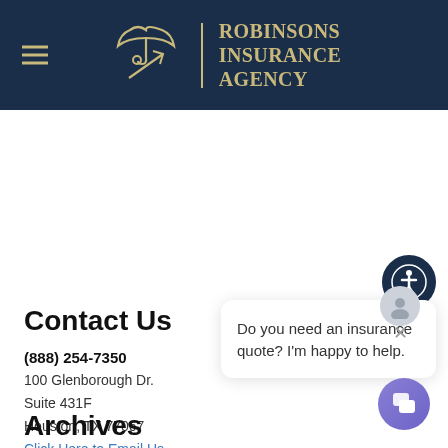[Figure (logo): Robinsons Insurance Agency logo with umbrella and arrow icon on dark navy background with hamburger menu icon]
[Figure (illustration): Accessibility icon button - person with arms outstretched in a circle, navy background]
Contact Us
(888) 254-7350
100 Glenborough Dr.
Suite 431F
Houston, TX 77067
Click Here to Email Us
[Figure (screenshot): Chat popup with avatar icon and text: Do you need an insurance quote? I'm happy to help.]
[Figure (illustration): Purple chat button icon at bottom right]
Archives